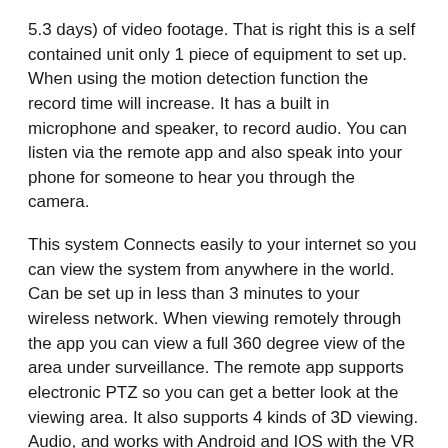5.3 days) of video footage. That is right this is a self contained unit only 1 piece of equipment to set up. When using the motion detection function the record time will increase. It has a built in microphone and speaker, to record audio. You can listen via the remote app and also speak into your phone for someone to hear you through the camera.
This system Connects easily to your internet so you can view the system from anywhere in the world. Can be set up in less than 3 minutes to your wireless network. When viewing remotely through the app you can view a full 360 degree view of the area under surveillance. The remote app supports electronic PTZ so you can get a better look at the viewing area. It also supports 4 kinds of 3D viewing. Audio, and works with Android and IOS with the VR Cam app from the app store. This camera is simply amazing and easy to set up and operate. Mounts on ceiling or wall with 3 screws(screws not included). Not meant for outdoors. No additional cameras can be added to this system.